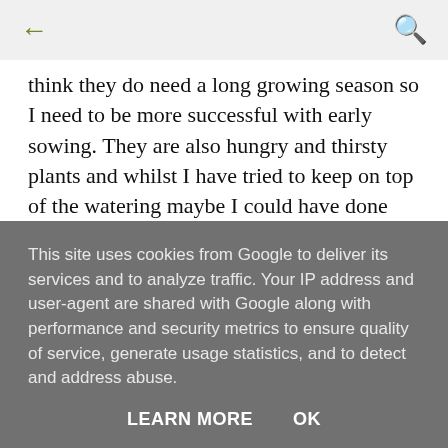← (back) | 🔍 (search)
think they do need a long growing season so I need to be more successful with early sowing. They are also hungry and thirsty plants and whilst I have tried to keep on top of the watering maybe I could have done better.
So all in all it has been a good year so far.  The
This site uses cookies from Google to deliver its services and to analyze traffic. Your IP address and user-agent are shared with Google along with performance and security metrics to ensure quality of service, generate usage statistics, and to detect and address abuse.
LEARN MORE   OK